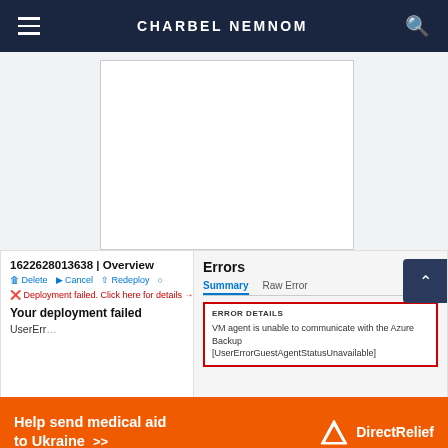CHARBEL NEMNOM
[Figure (screenshot): Azure portal screenshot showing deployment overview with ID 1622628013638, actions (Delete, Cancel, Redeploy), a deployment failed error message, and an Errors panel with Summary/Raw Error tabs showing ERROR DETAILS: VM agent is unable to communicate with the Azure Backup [UserErrorGuestAgentStatusUnavailable]]
[Figure (other): Orange Direct Relief advertisement banner: 'Help send medical aid to Ukraine >>' with Direct Relief logo]
If you came across a similar issue for Windows